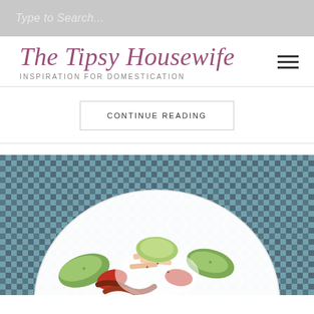Type to Search...
The Tipsy Housewife INSPIRATION FOR DOMESTICATION
CONTINUE READING
[Figure (photo): A white plate with a salad featuring avocado, cheese, bacon, tomato, and other toppings, placed on a blue and white gingham checkered fabric background.]